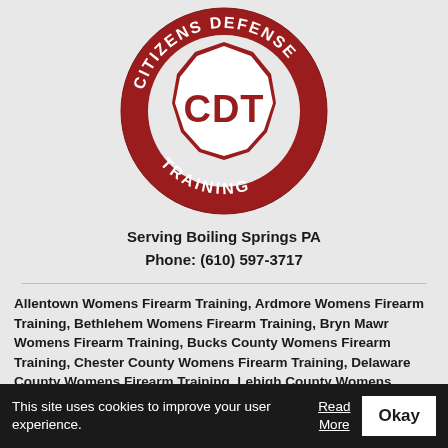[Figure (logo): Citizens Defense Training (CDT) circular logo in dark red/maroon. Outer ring reads 'CITIZENS DEFENSE' at top and 'TRAINING' at bottom in white text. Center has a white shield/badge shape with red bold letters 'CDT'.]
Serving Boiling Springs PA
Phone: (610) 597-3717
Allentown Womens Firearm Training, Ardmore Womens Firearm Training, Bethlehem Womens Firearm Training, Bryn Mawr Womens Firearm Training, Bucks County Womens Firearm Training, Chester County Womens Firearm Training, Delaware County Womens Firearm Training, Lehigh County Womens Firearm Training, Mainline Womens Firearm Training, Main Line Womens
This site uses cookies to improve your user experience.
Read More
Okay